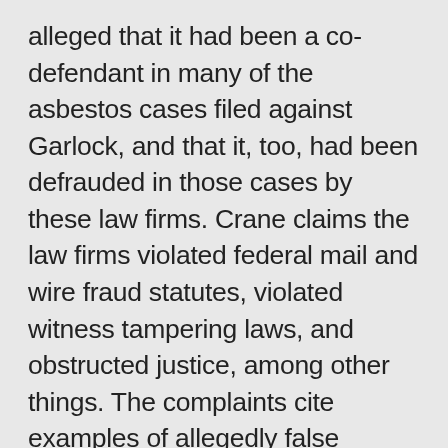alleged that it had been a co-defendant in many of the asbestos cases filed against Garlock, and that it, too, had been defrauded in those cases by these law firms. Crane claims the law firms violated federal mail and wire fraud statutes, violated witness tampering laws, and obstructed justice, among other things. The complaints cite examples of allegedly false claims, undisclosed asbestos exposure trust fund claims, and other alleged abuses. In the lawsuit against Simon Greenstone, Crane included claims against that firm's principals, Jeffrey Simon (who was serving as President of the Texas Trial Lawyers Association) and David Greenstone.